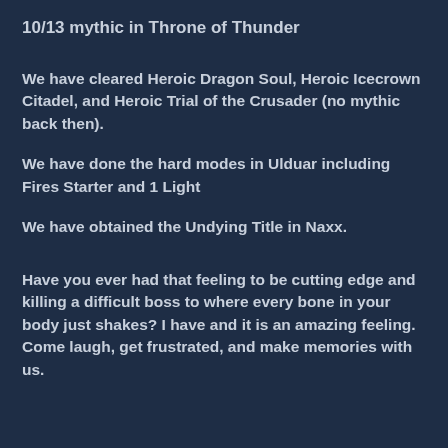10/13 mythic in Throne of Thunder
We have cleared Heroic Dragon Soul, Heroic Icecrown Citadel, and Heroic Trial of the Crusader (no mythic back then).
We have done the hard modes in Ulduar including Fires Starter and 1 Light
We have obtained the Undying Title in Naxx.
Have you ever had that feeling to be cutting edge and killing a difficult boss to where every bone in your body just shakes? I have and it is an amazing feeling. Come laugh, get frustrated, and make memories with us.